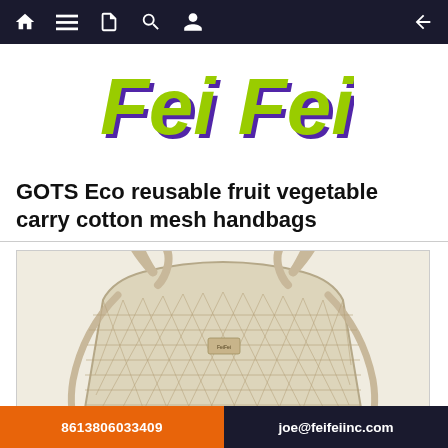Navigation bar with home, menu, document, search, profile icons and back arrow
[Figure (logo): Fei Fei logo in yellow-green italic bold text with dark purple shadow offset, displayed centered on white background]
GOTS Eco reusable fruit vegetable carry cotton mesh handbags
[Figure (photo): A cream/natural colored cotton mesh net shopping bag with two handles, photographed on white background. The bag has an open weave mesh body typical of reusable produce bags.]
8613806033409 | joe@feifeiinc.com